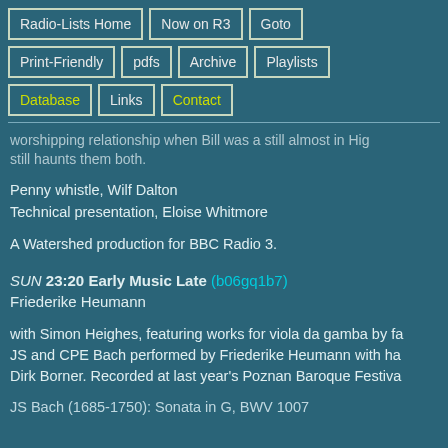Radio-Lists Home
Now on R3
Goto
Print-Friendly
pdfs
Archive
Playlists
Database
Links
Contact
worshipping relationship when Bill was a still almost in... still haunts them both.
Penny whistle, Wilf Dalton
Technical presentation, Eloise Whitmore
A Watershed production for BBC Radio 3.
SUN 23:20 Early Music Late (b06gq1b7)
Friederike Heumann
with Simon Heighes, featuring works for viola da gamba by fa JS and CPE Bach performed by Friederike Heumann with ha Dirk Borner. Recorded at last year's Poznan Baroque Festiva
JS Bach (1685-1750): Sonata in G, BWV 1007